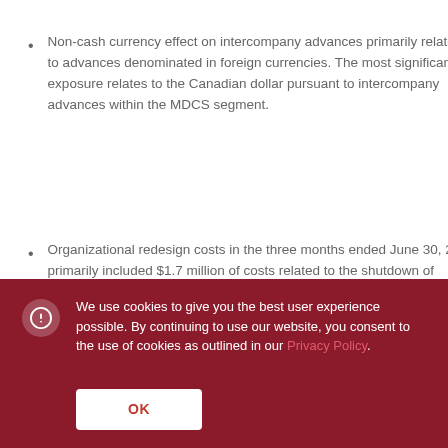Non-cash currency effect on intercompany advances primarily relates to advances denominated in foreign currencies. The most significant exposure relates to the Canadian dollar pursuant to intercompany advances within the MDCS segment.
Organizational redesign costs in the three months ended June 30, 2016 primarily included $1.7 million of costs related to the shutdown of facilities in APPT and $2.1 million for
We use cookies to give you the best user experience possible. By continuing to use our website, you consent to the use of cookies as outlined in our Privacy Policy.